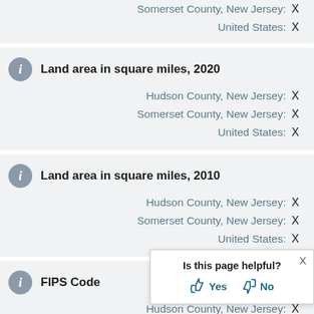Somerset County, New Jersey: X
United States: X
Land area in square miles, 2020
Hudson County, New Jersey: X
Somerset County, New Jersey: X
United States: X
Land area in square miles, 2010
Hudson County, New Jersey: X
Somerset County, New Jersey: X
United States: X
FIPS Code
Hudson County, New Jersey: X
Somerset County, New Jersey: X
Is this page helpful? Yes No